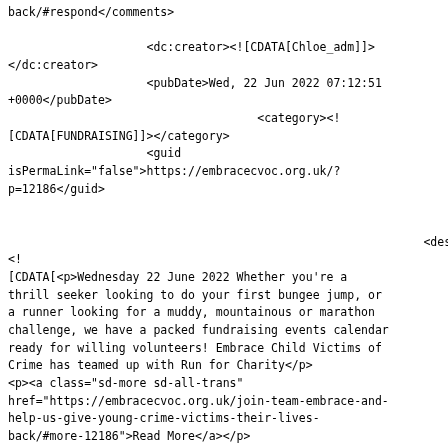back/#respond</comments>

                    <dc:creator><![CDATA[Chloe_adm]]>
</dc:creator>
                    <pubDate>Wed, 22 Jun 2022 07:12:51
+0000</pubDate>
                                        <category><!
[CDATA[FUNDRAISING]]></category>
                    <guid
isPermaLink="false">https://embracecvoc.org.uk/?
p=12186</guid>


                                                            <description><!
[CDATA[<p>Wednesday 22 June 2022 Whether you're a
thrill seeker looking to do your first bungee jump, or
a runner looking for a muddy, mountainous or marathon
challenge, we have a packed fundraising events calendar
ready for willing volunteers! Embrace Child Victims of
Crime has teamed up with Run for Charity</p>
<p><a class="sd-more sd-all-trans"
href="https://embracecvoc.org.uk/join-team-embrace-and-
help-us-give-young-crime-victims-their-lives-
back/#more-12186">Read More</a></p>
<p>The post <a rel="nofollow"
href="https://embracecvoc.org.uk/join-team-embrace-and-
help-us-give-young-crime-victims-their-lives-
back/">Join Team Embrace and help us give young crime
victims their lives back</a> appeared first on <a
rel="nofollow"
href="https://embracecvoc.org.uk">Embrace - CVOC</a>.